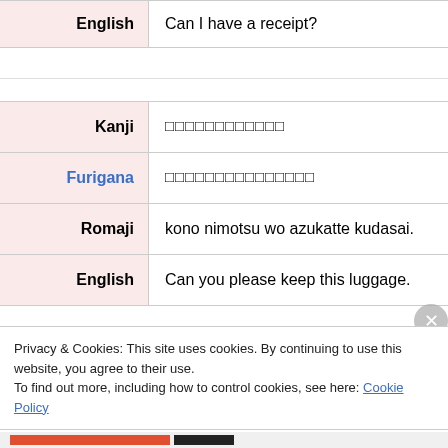|  |  |
| --- | --- |
| English | Can I have a receipt? |
|  |  |
| --- | --- |
| Kanji | この荷物を預かってください。 |
| Furigana | このにもつをあずかってください。 |
| Romaji | kono nimotsu wo azukatte kudasai. |
| English | Can you please keep this luggage. |
Privacy & Cookies: This site uses cookies. By continuing to use this website, you agree to their use. To find out more, including how to control cookies, see here: Cookie Policy